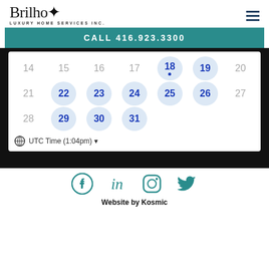[Figure (logo): Brilho Luxury Home Services Inc. logo with stylized text and asterisk/star symbol]
CALL 416.923.3300
[Figure (other): Calendar widget showing dates 14-31 with available dates (18,19,22,23,24,25,26,29,30,31) highlighted in blue on light blue circles. Date 18 has a dot indicator. Shows UTC Time (1:04pm) timezone selector.]
[Figure (other): Social media icons row: Facebook, LinkedIn, Instagram, Twitter]
Website by Kosmic